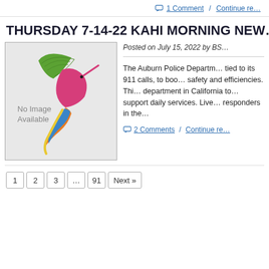1 Comment / Continue re…
THURSDAY 7-14-22 KAHI MORNING NEW…
[Figure (logo): Hummingbird logo with green wing, pink body, orange and blue tail feathers on grey background. Text 'No Image Available' in lower left.]
Posted on July 15, 2022 by BS…
The Auburn Police Departm… tied to its 911 calls, to boo… safety and efficiencies. Thi… department in California to… support daily services. Live… responders in the…
2 Comments / Continue re…
1   2   3   ...   91   Next »